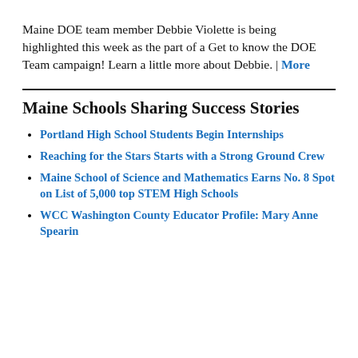Maine DOE team member Debbie Violette is being highlighted this week as the part of a Get to know the DOE Team campaign! Learn a little more about Debbie. | More
Maine Schools Sharing Success Stories
Portland High School Students Begin Internships
Reaching for the Stars Starts with a Strong Ground Crew
Maine School of Science and Mathematics Earns No. 8 Spot on List of 5,000 top STEM High Schools
WCC Washington County Educator Profile: Mary Anne Spearin